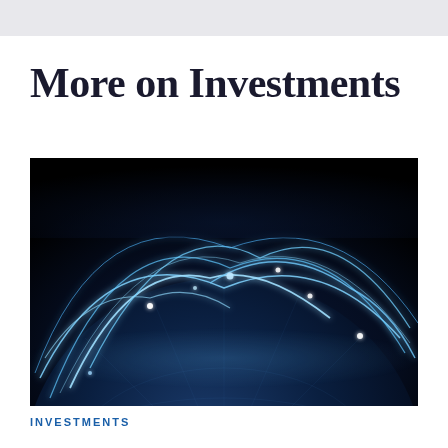More on Investments
[Figure (photo): Photograph of a stylized digital globe against a black background, with glowing blue arc lines connecting points across the Earth's surface, representing global investment networks or connectivity.]
INVESTMENTS